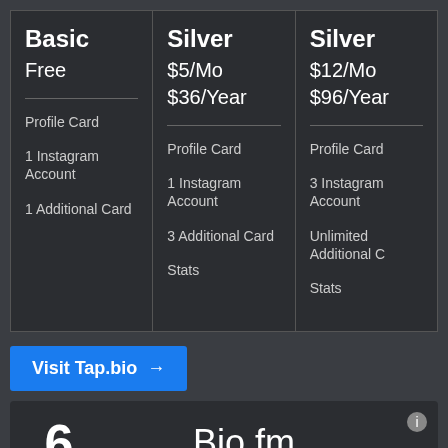| Basic | Silver | Silver |
| --- | --- | --- |
| Free | $5/Mo
$36/Year | $12/Mo
$96/Year |
| Profile Card | Profile Card | Profile Card |
| 1 Instagram Account | 1 Instagram Account | 3 Instagram Account |
| 1 Additional Card | 3 Additional Card | Unlimited Additional C |
|  | Stats | Stats |
Visit Tap.bio →
6   Bio.fm
Bio.fm is another bio link tool. With Bio.fm you can share almost any content like videos, images, links, email collection forms, etc.